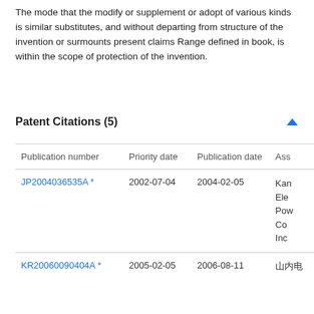The mode that the modify or supplement or adopt of various kinds is similar substitutes, and without departing from structure of the invention or surmounts present claims Range defined in book, is within the scope of protection of the invention.
Patent Citations (5)
| Publication number | Priority date | Publication date | Ass |
| --- | --- | --- | --- |
| JP2004036535A * | 2002-07-04 | 2004-02-05 | Kan Ele Pow Co Inc |
| KR20060090404A * | 2005-02-05 | 2006-08-11 |  |